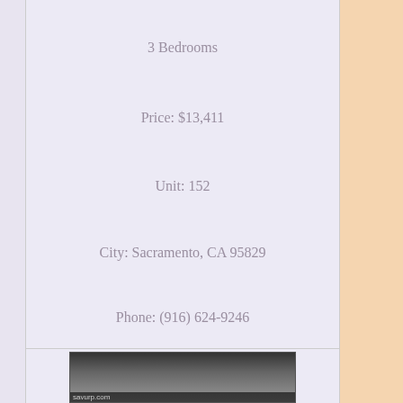3 Bedrooms
Price: $13,411
Unit: 152
City: Sacramento, CA 95829
Phone: (916) 624-9246
[Figure (photo): Two thumbnail photos of a house property listing]
[Figure (photo): Bottom listing card with property image and savurp.com watermark]